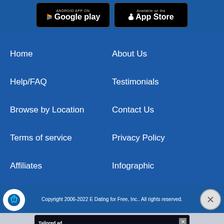[Figure (screenshot): Google Play and App Store download badges on blue background]
Home
About Us
Help/FAQ
Testimonials
Browse by Location
Contact Us
Terms of service
Privacy Policy
Affiliates
Infographic
Copyright 2006-2022 E Dating for Free, Inc.. All rights reserved.
[Figure (screenshot): Freestar ad: Tailored ad management solutions for every publisher with LEARN MORE button]